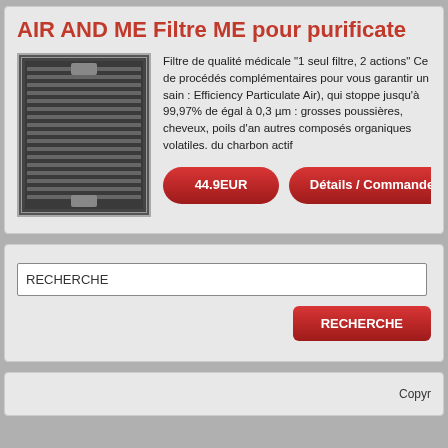AIR AND ME Filtre ME pour purificate
[Figure (photo): Air filter product image showing a pleated HEPA/activated carbon filter panel with dark metallic frame]
Filtre de qualité médicale "1 seul filtre, 2 actions" Ce de procédés complémentaires pour vous garantir un sain : Efficiency Particulate Air), qui stoppe jusqu'à 99,97% de égal à 0,3 µm : grosses poussières, cheveux, poils d'an autres composés organiques volatiles. du charbon actif
44.9EUR
Détails / Commande
RECHERCHE
RECHERCHE
Copyr